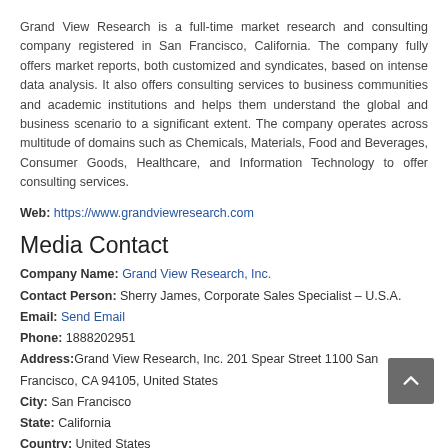Grand View Research is a full-time market research and consulting company registered in San Francisco, California. The company fully offers market reports, both customized and syndicates, based on intense data analysis. It also offers consulting services to business communities and academic institutions and helps them understand the global and business scenario to a significant extent. The company operates across multitude of domains such as Chemicals, Materials, Food and Beverages, Consumer Goods, Healthcare, and Information Technology to offer consulting services.
Web: https://www.grandviewresearch.com
Media Contact
Company Name: Grand View Research, Inc.
Contact Person: Sherry James, Corporate Sales Specialist – U.S.A.
Email: Send Email
Phone: 1888202951
Address: Grand View Research, Inc. 201 Spear Street 1100 San Francisco, CA 94105, United States
City: San Francisco
State: California
Country: United States
Website: https://www.grandviewresearch.com/industry-analysis/car-care-product-market